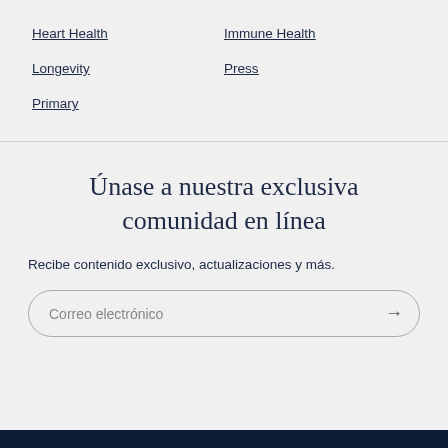Heart Health
Immune Health
Longevity
Press
Primary
Únase a nuestra exclusiva comunidad en línea
Recibe contenido exclusivo, actualizaciones y más.
Correo electrónico